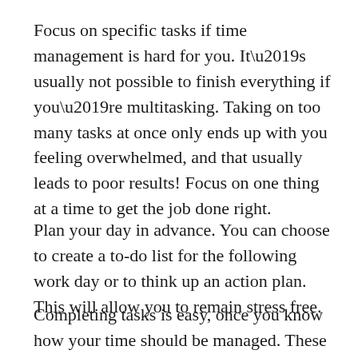Focus on specific tasks if time management is hard for you. It’s usually not possible to finish everything if you’re multitasking. Taking on too many tasks at once only ends up with you feeling overwhelmed, and that usually leads to poor results! Focus on one thing at a time to get the job done right.
Plan your day in advance. You can choose to create a to-do list for the following work day or to think up an action plan. This will allow you to remain stress free.
Completing tasks is easy, once you know how your time should be managed. These tips will increase your level of organization. This